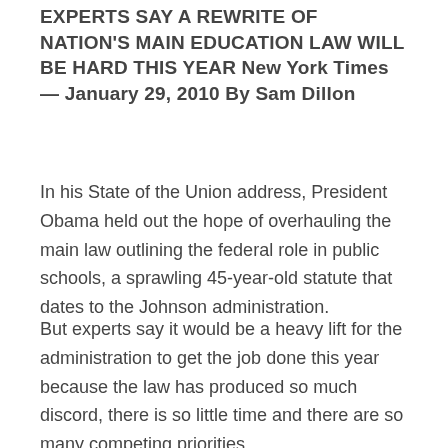EXPERTS SAY A REWRITE OF NATION'S MAIN EDUCATION LAW WILL BE HARD THIS YEAR New York Times — January 29, 2010 By Sam Dillon
In his State of the Union address, President Obama held out the hope of overhauling the main law outlining the federal role in public schools, a sprawling 45-year-old statute that dates to the Johnson administration.
But experts say it would be a heavy lift for the administration to get the job done this year because the law has produced so much discord, there is so little time and there are so many competing priorities.